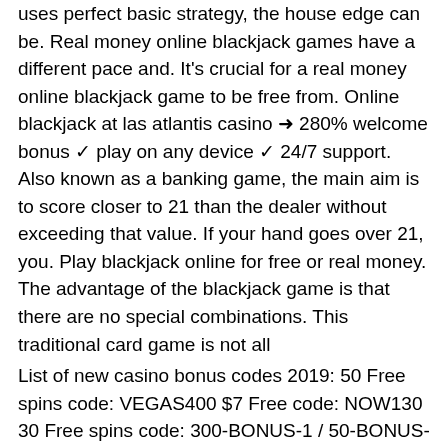uses perfect basic strategy, the house edge can be. Real money online blackjack games have a different pace and. It's crucial for a real money online blackjack game to be free from. Online blackjack at las atlantis casino ➜ 280% welcome bonus ✓ play on any device ✓ 24/7 support. Also known as a banking game, the main aim is to score closer to 21 than the dealer without exceeding that value. If your hand goes over 21, you. Play blackjack online for free or real money. The advantage of the blackjack game is that there are no special combinations. This traditional card game is not all
List of new casino bonus codes 2019: 50 Free spins code: VEGAS400 $7 Free code: NOW130 30 Free spins code: 300-BONUS-1 / 50-BONUS-2 55 Free spins code: WELCOME777 25 Free spins code: MAPLE25 215 Free spins code: 215RICHSPINS $4,000 code: 4000WIN